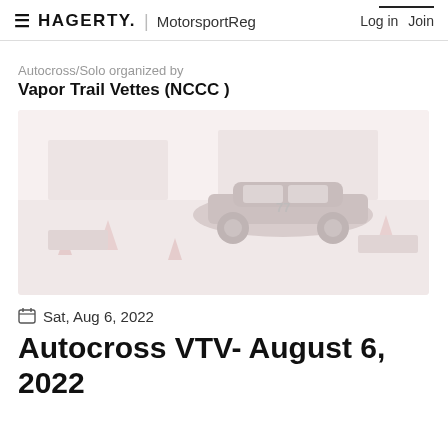HAGERTY. | MotorsportReg   Log in  Join
Autocross/Solo organized by
Vapor Trail Vettes (NCCC )
[Figure (photo): Faded/washed-out photo of a car (appears to be a Corvette) on an autocross course with orange cones, light pinkish-white tones]
Sat, Aug 6, 2022
Autocross VTV- August 6, 2022